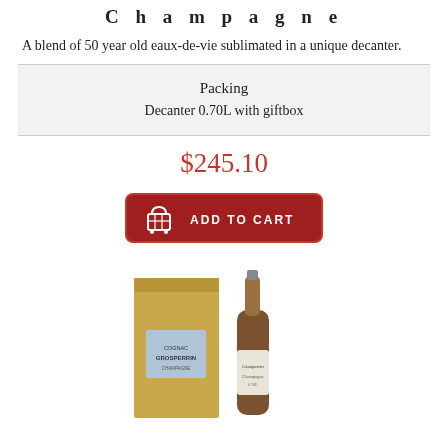Champagne
A blend of 50 year old eaux-de-vie sublimated in a unique decanter.
| Packing |
| --- |
| Decanter 0.70L with giftbox |
$245.10
[Figure (other): Add to Cart button with shopping basket icon]
[Figure (photo): Product photo showing a tall cognac decanter bottle next to a gold gift box with a Grosperrin label]